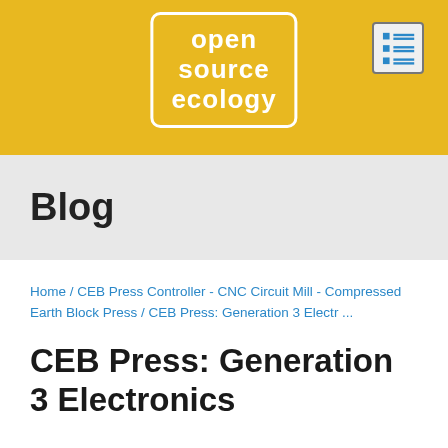[Figure (logo): Open Source Ecology logo in white text on golden yellow background, inside a white-bordered rounded rectangle. Text reads: open source ecology]
[Figure (other): Menu/hamburger icon with list lines inside a rounded square box, top right of header]
Blog
Home / CEB Press Controller - CNC Circuit Mill - Compressed Earth Block Press / CEB Press: Generation 3 Electr ...
CEB Press: Generation 3 Electronics